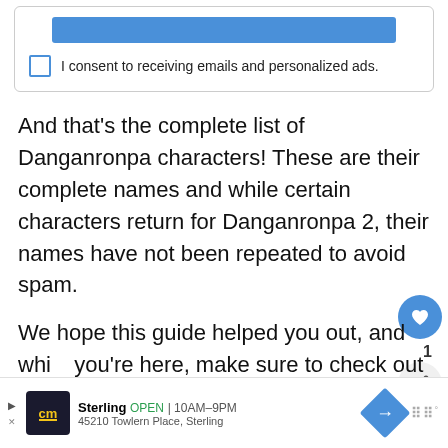[Figure (screenshot): Top UI card with a blue button bar and a consent checkbox row reading 'I consent to receiving emails and personalized ads.']
And that's the complete list of Danganronpa characters! These are their complete names and while certain characters return for Danganronpa 2, their names have not been repeated to avoid spam.
We hope this guide helped you out, and while you're here, make sure to check out our other helpful gaming guides too!
[Figure (infographic): What's Next panel showing Digimon ReArise Tier... with thumbnail]
[Figure (screenshot): Advertisement bar at bottom: CM store icon, Sterling OPEN 10AM-9PM, 45210 Towlern Place Sterling, blue diamond arrow icon]